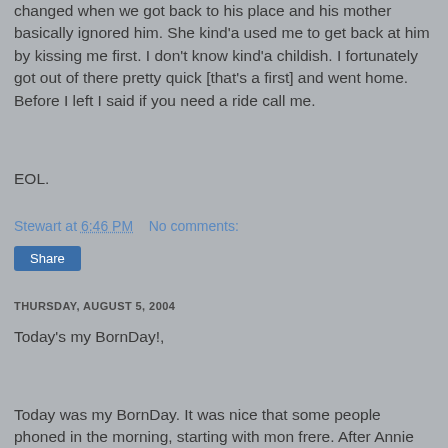changed when we got back to his place and his mother basically ignored him. She kind'a used me to get back at him by kissing me first. I don't know kind'a childish. I fortunately got out of there pretty quick [that's a first] and went home. Before I left I said if you need a ride call me.
EOL.
Stewart at 6:46 PM    No comments:
Share
THURSDAY, AUGUST 5, 2004
Today's my BornDay!,
Today was my BornDay. It was nice that some people phoned in the morning, starting with mon frere. After Annie